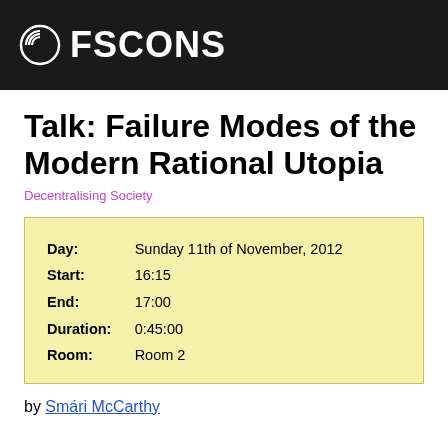FSCONS
Talk: Failure Modes of the Modern Rational Utopia
Decentralising Society
| Day: | Sunday 11th of November, 2012 |
| Start: | 16:15 |
| End: | 17:00 |
| Duration: | 0:45:00 |
| Room: | Room 2 |
by Smári McCarthy